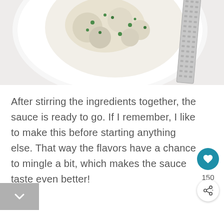[Figure (photo): Overhead view of a white bowl containing a creamy sauce with green herbs (chives) and a metal grater resting across the bowl, on a light gray/white background.]
After stirring the ingredients together, the sauce is ready to go. If I remember, I like to make this before starting anything else. That way the flavors have a chance to mingle a bit, which makes the sauce taste even better!